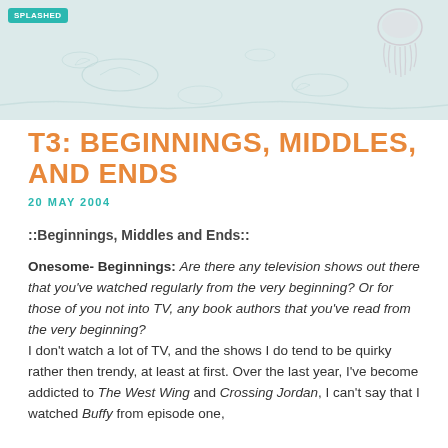[Figure (illustration): Light blue/teal header banner with decorative jellyfish illustration and wave/fish outlines in the background]
SPLASHED
T3: BEGINNINGS, MIDDLES, AND ENDS
20 MAY 2004
::Beginnings, Middles and Ends::
Onesome- Beginnings: Are there any television shows out there that you've watched regularly from the very beginning? Or for those of you not into TV, any book authors that you've read from the very beginning?
I don't watch a lot of TV, and the shows I do tend to be quirky rather then trendy, at least at first. Over the last year, I've become addicted to The West Wing and Crossing Jordan, I can't say that I watched Buffy from episode one,